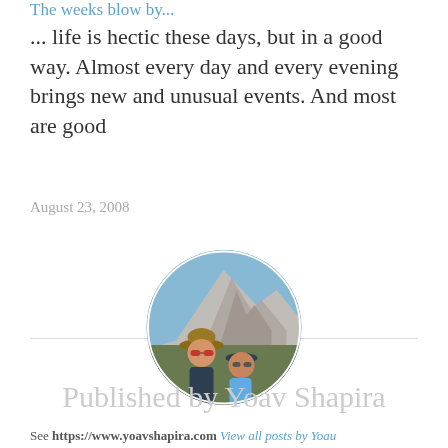The weeks blow by...
... life is hectic these days, but in a good way. Almost every day and every evening brings new and unusual events. And most are good
August 23, 2008
[Figure (photo): Circular avatar photo of two people outdoors with a mountain (Half Dome, Yosemite) in the background]
Published by Yoav Shapira
See https://www.yoavshapira.com View all posts by Yoav